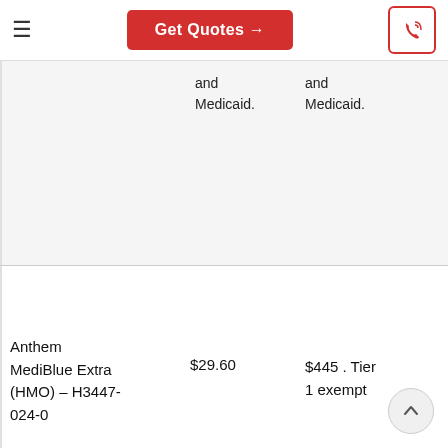≡   Get Quotes →   [phone icon]
and Medicaid.
and Medicaid.
| Plan | Premium | Drug Deductible |
| --- | --- | --- |
| Anthem MediBlue Extra (HMO) – H3447-024-0 | $29.60 | $445 . Tier 1 exempt |